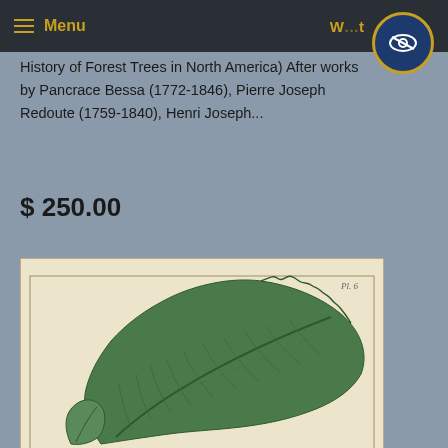≡ Menu
History of Forest Trees in North America) After works by Pancrace Bessa (1772-1846), Pierre Joseph Redoute (1759-1840), Henri Joseph...
$ 250.00
[Figure (illustration): Botanical illustration of a large green serrated leaf, likely an elm or similar North American forest tree leaf. The leaf shows detailed veining and texture. The illustration is printed on aged cream/beige paper with a border, resembling a historical botanical print with a plate number (Pl. 6) in the upper right.]